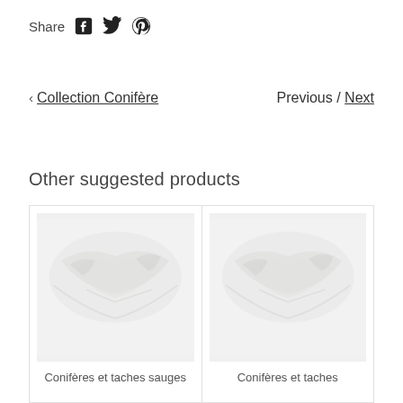Share
< Collection Conifère    Previous / Next
Other suggested products
[Figure (photo): Product thumbnail showing conifer branches on white/light background]
Conifères et taches sauges
[Figure (photo): Product thumbnail showing conifer branches on white/light background]
Conifères et taches